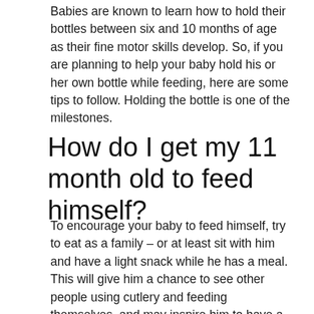Babies are known to learn how to hold their bottles between six and 10 months of age as their fine motor skills develop. So, if you are planning to help your baby hold his or her own bottle while feeding, here are some tips to follow. Holding the bottle is one of the milestones.
How do I get my 11 month old to feed himself?
To encourage your baby to feed himself, try to eat as a family – or at least sit with him and have a light snack while he has a meal. This will give him a chance to see other people using cutlery and feeding themselves, and may inspire him to have a go and be just like Mummy/Daddy/his big